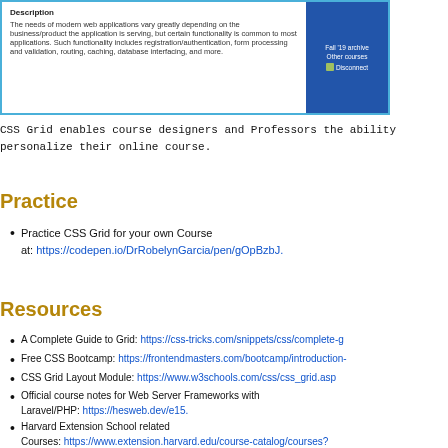[Figure (screenshot): Screenshot of a course page with Description section on the left and a dark blue sidebar on the right showing 'Fall '19 archive', 'Other courses', and 'Disconnect' links.]
CSS Grid enables course designers and Professors the ability personalize their online course.
Practice
Practice CSS Grid for your own Course at: https://codepen.io/DrRobelynGarcia/pen/gOpBzbJ.
Resources
A Complete Guide to Grid: https://css-tricks.com/snippets/css/complete-g
Free CSS Bootcamp: https://frontendmasters.com/bootcamp/introduction-
CSS Grid Layout Module: https://www.w3schools.com/css/css_grid.asp
Official course notes for Web Server Frameworks with Laravel/PHP: https://hesweb.dev/e15.
Harvard Extension School related Courses: https://www.extension.harvard.edu/course-catalog/courses?subjects=Computer%20Science%2BDigital%20Media.
This note set GitHub code: https://github.com/RGPhD/e15/tree/master/independent-study.
This note set tinyurl: https://tinyurl.com/HarvardeLearning.
Twitter post: https://twitter.com/RGPhD/status/126199720427473305 7